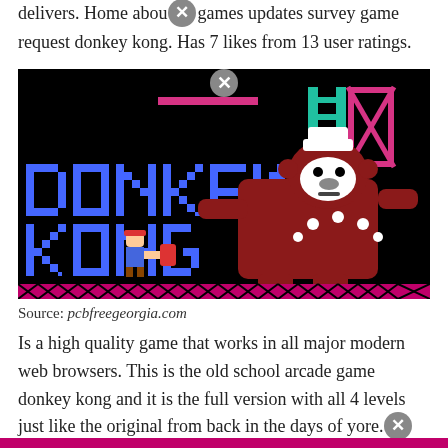delivers. Home about games updates survey game request donkey kong. Has 7 likes from 13 user ratings.
[Figure (screenshot): Screenshot of the Donkey Kong arcade game showing the title text 'DONKEY KONG' in pixelated blue letters on a black background, with the large brown gorilla character on the right and a small player character on the left, pink/magenta platform girders, teal ladder, and decorative bottom border.]
Source: pcbfreegeorgia.com
Is a high quality game that works in all major modern web browsers. This is the old school arcade game donkey kong and it is the full version with all 4 levels just like the original from back in the days of yore.